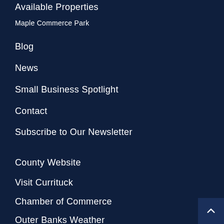Available Properties
Maple Commerce Park
Blog
News
Small Business Spotlight
Contact
Subscribe to Our Newsletter
County Website
Visit Currituck
Chamber of Commerce
Outer Banks Weather